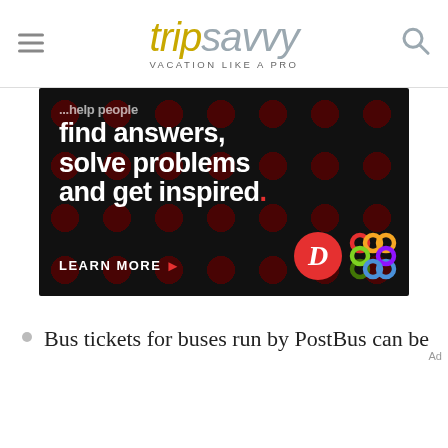tripsavvy VACATION LIKE A PRO
[Figure (screenshot): Advertisement banner with dark background and red dot pattern. Text reads: '...help people find answers, solve problems and get inspired.' with 'LEARN MORE' button and Dotdash/Meredith logos.]
Bus tickets for buses run by PostBus can be